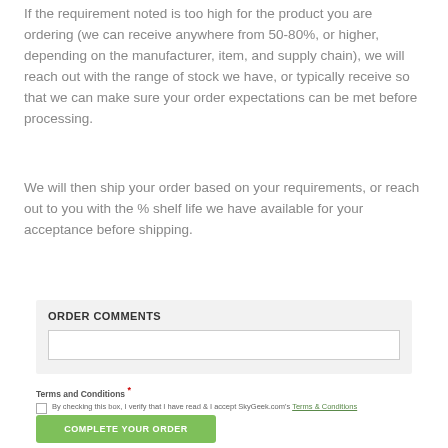If the requirement noted is too high for the product you are ordering (we can receive anywhere from 50-80%, or higher, depending on the manufacturer, item, and supply chain), we will reach out with the range of stock we have, or typically receive so that we can make sure your order expectations can be met before processing.
We will then ship your order based on your requirements, or reach out to you with the % shelf life we have available for your acceptance before shipping.
ORDER COMMENTS
Terms and Conditions * By checking this box, I verify that I have read & I accept SkyGeek.com's Terms & Conditions
COMPLETE YOUR ORDER